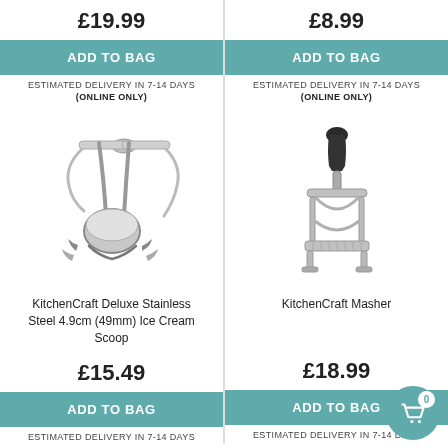£19.99
ADD TO BAG
ESTIMATED DELIVERY IN 7-14 DAYS
(ONLINE ONLY)
£8.99
ADD TO BAG
ESTIMATED DELIVERY IN 7-14 DAYS
(ONLINE ONLY)
[Figure (photo): KitchenCraft Deluxe Stainless Steel 4.9cm (49mm) Ice Cream Scoop product photo]
KitchenCraft Deluxe Stainless Steel 4.9cm (49mm) Ice Cream Scoop
£15.49
ADD TO BAG
ESTIMATED DELIVERY IN 7-14 DAYS
[Figure (photo): KitchenCraft Masher product photo]
KitchenCraft Masher
£18.99
ADD TO BAG
ESTIMATED DELIVERY IN 7-14 DAYS